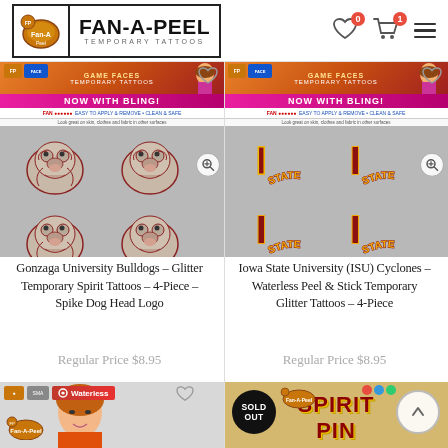FAN-A-PEEL TEMPORARY TATTOOS
[Figure (photo): Gonzaga University Bulldogs Glitter Temporary Spirit Tattoos 4-Piece Spike Dog Head Logo product image showing gray package with four bulldog head tattoo designs]
Gonzaga University Bulldogs – Glitter Temporary Spirit Tattoos – 4-Piece – Spike Dog Head Logo
Regular Price $8.95
[Figure (photo): Iowa State University (ISU) Cyclones Waterless Peel and Stick Temporary Glitter Tattoos 4-Piece product image showing gray package with four ISU STATE logo tattoo designs in crimson and gold]
Iowa State University (ISU) Cyclones – Waterless Peel & Stick Temporary Glitter Tattoos – 4-Piece
Regular Price $8.95
[Figure (photo): Bottom left product partially visible showing Waterless label and woman face]
[Figure (photo): Bottom right product partially visible showing SPIRIT PIN text with SOLD OUT badge overlay]